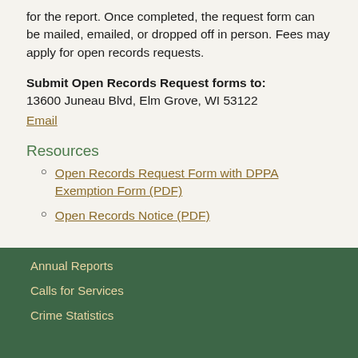for the report. Once completed, the request form can be mailed, emailed, or dropped off in person. Fees may apply for open records requests.
Submit Open Records Request forms to:
13600 Juneau Blvd, Elm Grove, WI 53122
Email
Resources
Open Records Request Form with DPPA Exemption Form (PDF)
Open Records Notice (PDF)
Annual Reports
Calls for Services
Crime Statistics